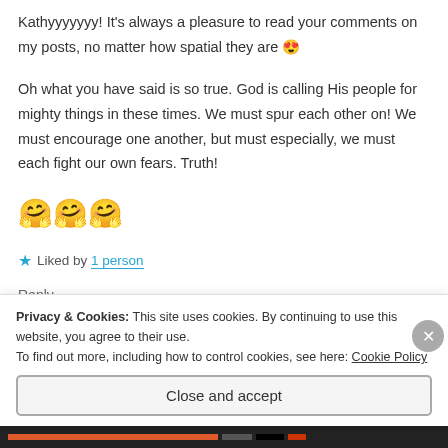Kathyyyyyyy! It's always a pleasure to read your comments on my posts, no matter how spatial they are 😍
Oh what you have said is so true. God is calling His people for mighty things in these times. We must spur each other on! We must encourage one another, but must especially, we must each fight our own fears. Truth!
🤗🤗🤗
★ Liked by 1 person
Reply
Privacy & Cookies: This site uses cookies. By continuing to use this website, you agree to their use.
To find out more, including how to control cookies, see here: Cookie Policy
Close and accept